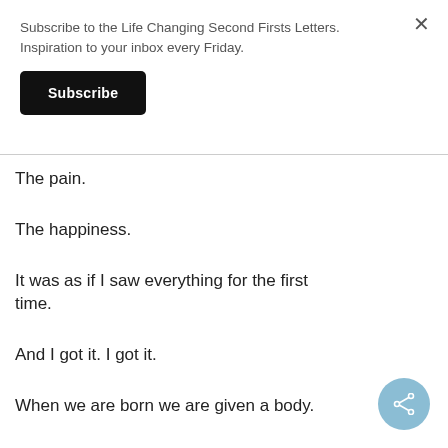Subscribe to the Life Changing Second Firsts Letters. Inspiration to your inbox every Friday.
Subscribe
The pain.
The happiness.
It was as if I saw everything for the first time.
And I got it. I got it.
When we are born we are given a body.